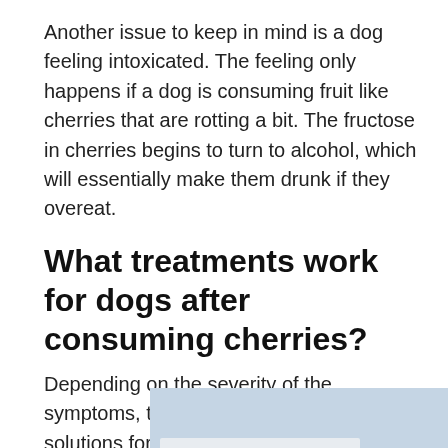Another issue to keep in mind is a dog feeling intoxicated. The feeling only happens if a dog is consuming fruit like cherries that are rotting a bit. The fructose in cherries begins to turn to alcohol, which will essentially make them drunk if they overeat.
What treatments work for dogs after consuming cherries?
Depending on the severity of the symptoms, there are many different solutions for a veterinarian
[Figure (photo): Photo of a person's hands working at a desk with a keyboard, papers and charts, partially overlapping the text. Accompanied by an advertisement for Parallaxes Capital Management.]